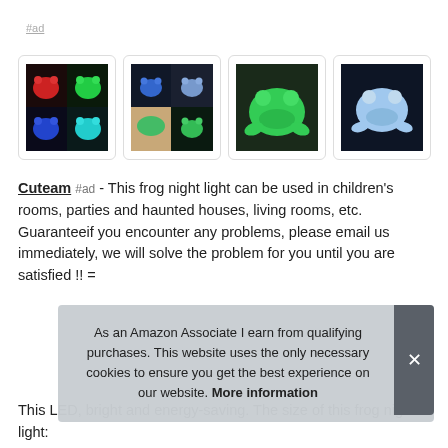#ad
[Figure (photo): Four product images of glowing frog night lights in various colors (red, green, blue, cyan, teal), showing the frog toy in different lighting conditions.]
Cuteam #ad - This frog night light can be used in children's rooms, parties and haunted houses, living rooms, etc. Guaranteeif you encounter any problems, please email us immediately, we will solve the problem for you until you are satisfied !! =
This LED, bright and energy-saving. The size of this frog night light:
As an Amazon Associate I earn from qualifying purchases. This website uses the only necessary cookies to ensure you get the best experience on our website. More information